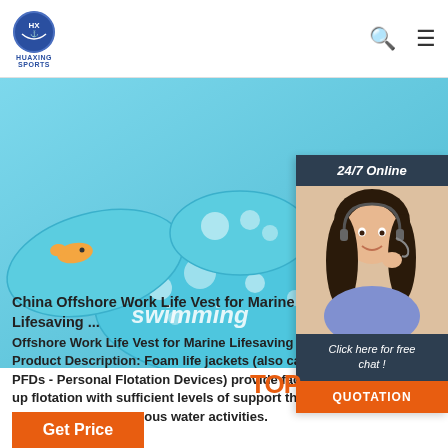HUAXING SPORTS
[Figure (photo): Product photo of a child swimming float/life vest in teal/blue color with polka dots and text 'swimming', with cartoon patterns]
[Figure (photo): 24/7 online chat widget with a female customer service representative wearing a headset, with 'Click here for free chat!' and orange QUOTATION button]
China Offshore Work Life Vest for Marine Lifesaving ...
Offshore Work Life Vest for Marine Lifesaving Product Description: Foam life jackets (also called PFDs - Personal Flotation Devices) provide face-up flotation with sufficient levels of support that can be applied in various water activities.
Get Price